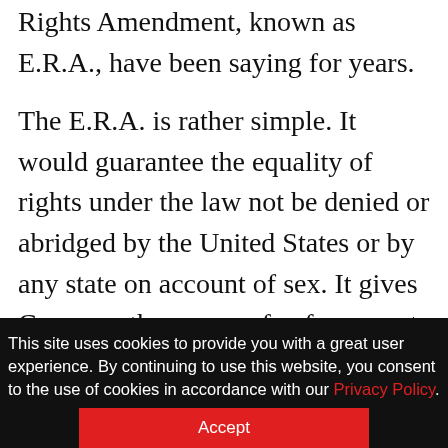Bravo. That's just what supporters of the Equal Rights Amendment, known as E.R.A., have been saying for years.
The E.R.A. is rather simple. It would guarantee the equality of rights under the law not be denied or abridged by the United States or by any state on account of sex. It gives Congress the power of enforcement.
Those who follow Scalia's decisions barely raised an eyebrow at his latest comments. He
This site uses cookies to provide you with a great user experience. By continuing to use this website, you consent to the use of cookies in accordance with our Privacy Policy.
Accept